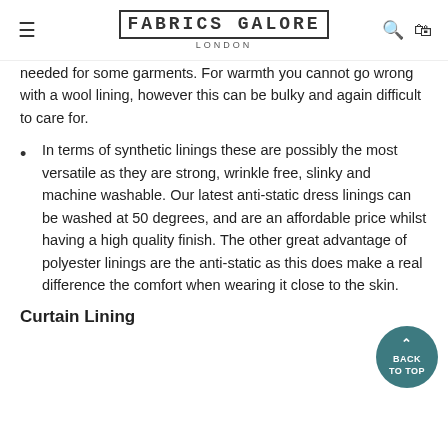FABRICS GALORE LONDON
needed for some garments. For warmth you cannot go wrong with a wool lining, however this can be bulky and again difficult to care for.
In terms of synthetic linings these are possibly the most versatile as they are strong, wrinkle free, slinky and machine washable. Our latest anti-static dress linings can be washed at 50 degrees, and are an affordable price whilst having a high quality finish. The other great advantage of polyester linings are the anti-static as this does make a real difference the comfort when wearing it close to the skin.
Curtain Lining